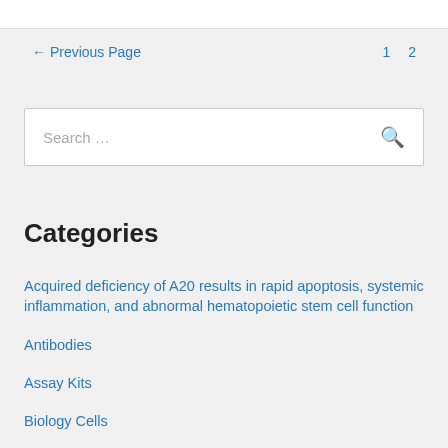← Previous Page   1   2
Search …
Categories
Acquired deficiency of A20 results in rapid apoptosis, systemic inflammation, and abnormal hematopoietic stem cell function
Antibodies
Assay Kits
Biology Cells
Blog
cDNA